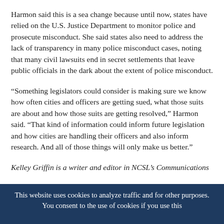Harmon said this is a sea change because until now, states have relied on the U.S. Justice Department to monitor police and prosecute misconduct. She said states also need to address the lack of transparency in many police misconduct cases, noting that many civil lawsuits end in secret settlements that leave public officials in the dark about the extent of police misconduct.
“Something legislators could consider is making sure we know how often cities and officers are getting sued, what those suits are about and how those suits are getting resolved,” Harmon said. “That kind of information could inform future legislation and how cities are handling their officers and also inform research. And all of those things will only make us better.”
Kelley Griffin is a writer and editor in NCSL’s Communications
This website uses cookies to analyze traffic and for other purposes. You consent to the use of cookies if you use this